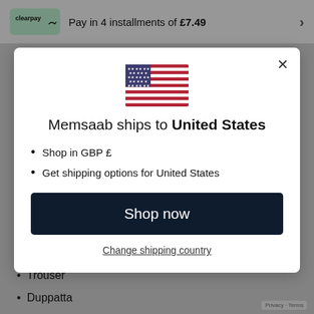[Figure (screenshot): Clearpay logo in green rounded rectangle with text 'clearpay']
Pay in 4 installments of £7.49
[Figure (illustration): US flag emoji/icon]
Memsaab ships to United States
Shop in GBP £
Get shipping options for United States
Shop now
Change shipping country
Shirt
Trouser
Duppatta